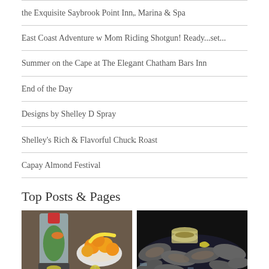the Exquisite Saybrook Point Inn, Marina & Spa
East Coast Adventure w Mom Riding Shotgun! Ready...set...
Summer on the Cape at The Elegant Chatham Bars Inn
End of the Day
Designs by Shelley D Spray
Shelley's Rich & Flavorful Chuck Roast
Capay Almond Festival
Top Posts & Pages
[Figure (photo): A blender with colorful vegetables and a bowl of oranges/citrus fruits on a counter]
[Figure (photo): A dark image of oysters on ice with a small glass jar of sauce and lemon]